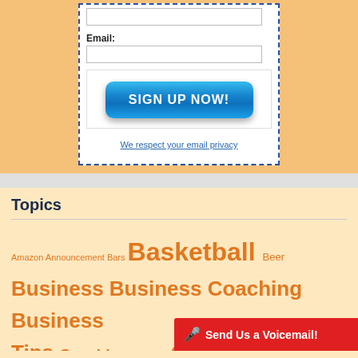[Figure (screenshot): Email sign-up form with dashed blue border, email input field, and 'SIGN UP NOW!' blue gradient button]
Email:
SIGN UP NOW!
We respect your email privacy
Topics
Amazon Announcement Bars Basketball Beer Business Business Coaching Business Tips Coaching Cocktails Comedy Deals Discount Drinks eBay Entertainment Football Experience Golf Happy Hour
Send Us a Voicemail!